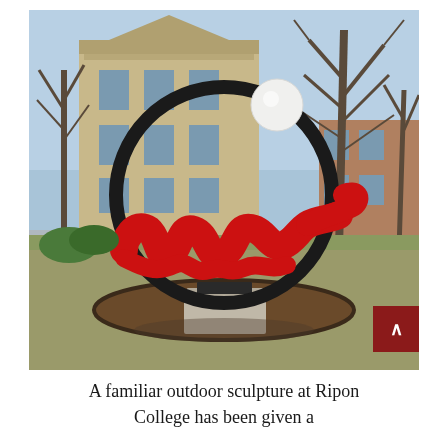[Figure (photo): Outdoor sculpture at Ripon College campus: a large black circular ring on a concrete pedestal, with red cursive wave-like metal lettering passing through it and a white sphere at the top. Bare trees and a stone building visible in the background on a sunny winter day.]
A familiar outdoor sculpture at Ripon College has been given a